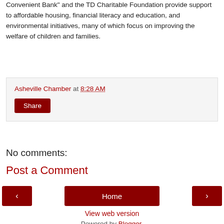Convenient Bank" and the TD Charitable Foundation provide support to affordable housing, financial literacy and education, and environmental initiatives, many of which focus on improving the welfare of children and families.
Asheville Chamber at 8:28 AM
Share
No comments:
Post a Comment
‹
Home
›
View web version
Powered by Blogger.